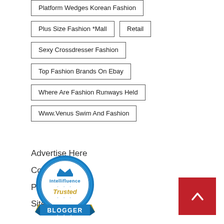Platform Wedges Korean Fashion
Plus Size Fashion *Mall
Retail
Sexy Crossdresser Fashion
Top Fashion Brands On Ebay
Where Are Fashion Runways Held
Www.Venus Swim And Fashion
Advertise Here
Contact Us
Privacy Policy
Sitemap
[Figure (logo): Intellifluence Trusted Blogger badge — circular blue badge with crown icon and ribbon banner reading BLOGGER]
[Figure (other): Back to top button — red square with white upward chevron arrow]